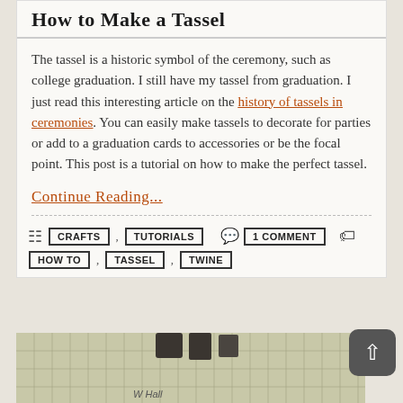How to Make a Tassel
The tassel is a historic symbol of the ceremony, such as college graduation. I still have my tassel from graduation. I just read this interesting article on the history of tassels in ceremonies. You can easily make tassels to decorate for parties or add to a graduation cards to accessories or be the focal point. This post is a tutorial on how to make the perfect tassel.
Continue Reading...
CRAFTS   TUTORIALS   1 COMMENT   HOW TO   TASSEL   TWINE
[Figure (photo): Partial photo of a craft/hall scene at bottom of page]